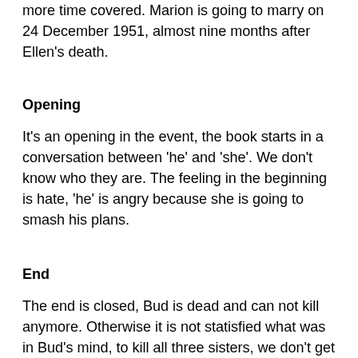more time covered. Marion is going to marry on 24 December 1951, almost nine months after Ellen's death.
Opening
It's an opening in the event, the book starts in a conversation between 'he' and 'she'. We don't know who they are. The feeling in the beginning is hate, 'he' is angry because she is going to smash his plans.
End
The end is closed, Bud is dead and can not kill anymore. Otherwise it is not statisfied what was in Bud's mind, to kill all three sisters, we don't get any insight in his psyche.